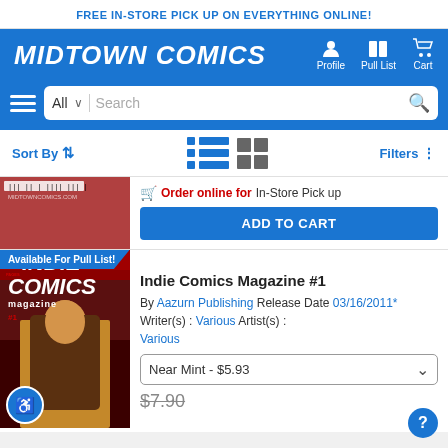FREE IN-STORE PICK UP ON EVERYTHING ONLINE!
[Figure (logo): Midtown Comics logo in white italic bold text on blue background with Profile, Pull List, Cart navigation icons]
[Figure (screenshot): Search bar with All dropdown, Search placeholder, and magnifying glass icon on blue background with hamburger menu]
Sort By  Filters
[Figure (screenshot): Comic book cover partially visible with MIDTOWNCOMICS.COM barcode overlay, with Order online for In-Store Pick up label and ADD TO CART button]
Order online for In-Store Pick up
ADD TO CART
Available For Pull List!
[Figure (photo): Indie Comics Magazine #1 cover showing INDIE COMICS magazine text in large white letters on dark red background with a woman on the cover]
Indie Comics Magazine #1
By Aazurn Publishing Release Date 03/16/2011* Writer(s) : Various Artist(s) : Various
Near Mint - $5.93
$7.90